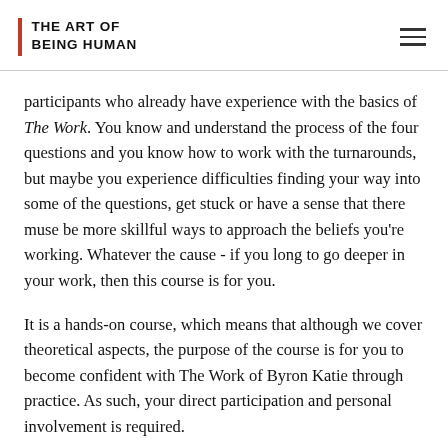THE ART OF BEING HUMAN
participants who already have experience with the basics of The Work. You know and understand the process of the four questions and you know how to work with the turnarounds, but maybe you experience difficulties finding your way into some of the questions, get stuck or have a sense that there muse be more skillful ways to approach the beliefs you're working. Whatever the cause - if you long to go deeper in your work, then this course is for you.
It is a hands-on course, which means that although we cover theoretical aspects, the purpose of the course is for you to become confident with The Work of Byron Katie through practice. As such, your direct participation and personal involvement is required.